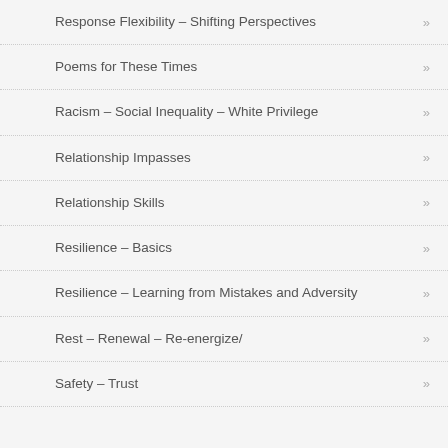Response Flexibility – Shifting Perspectives
Poems for These Times
Racism – Social Inequality – White Privilege
Relationship Impasses
Relationship Skills
Resilience – Basics
Resilience – Learning from Mistakes and Adversity
Rest – Renewal – Re-energize/
Safety – Trust